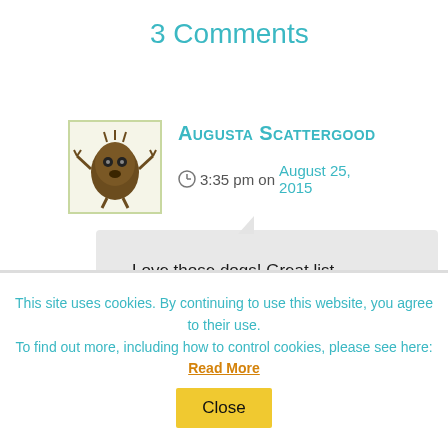3 Comments
Augusta Scattergood
3:35 pm on August 25, 2015
Love those dogs! Great list, Dorian.
This site uses cookies. By continuing to use this website, you agree to their use.
To find out more, including how to control cookies, please see here: Read More